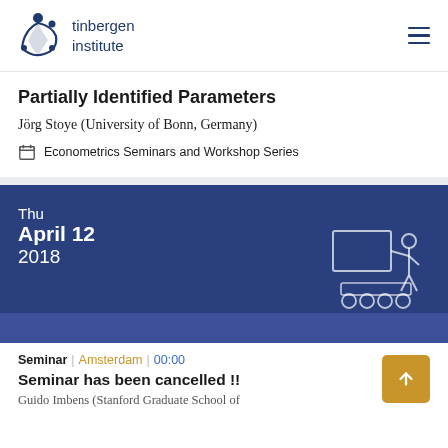tinbergen institute
Partially Identified Parameters
Jörg Stoye (University of Bonn, Germany)
Econometrics Seminars and Workshop Series
[Figure (infographic): Dark blue banner showing date: Thu April 12 2018, with an illustration of a person presenting at a board on the right side. A lighter blue strip at the bottom.]
Seminar | Amsterdam | 00:00
Seminar has been cancelled !!
Guido Imbens (Stanford Graduate School of...